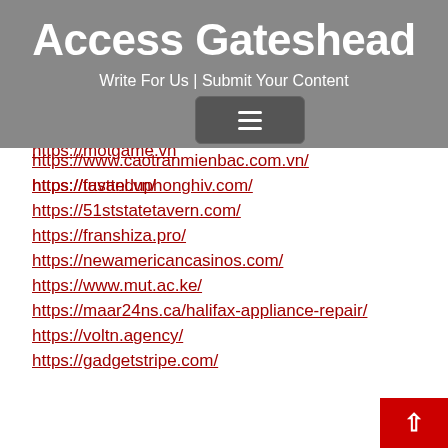Access Gateshead
Write For Us | Submit Your Content
http://garagedoorrepairnearme.pro/
http://w...
http://localgaragedoorexperts.com/
https://www.ailoq.com/
https://motgame.vn
https://tuvanduphonghiv.com/
https://www.caotranmienbac.com.vn/
https://fasttel.vn/
https://51ststatetavern.com/
https://franshiza.pro/
https://newamericancasinos.com/
https://www.mut.ac.ke/
https://maar24ns.ca/halifax-appliance-repair/
https://voltn.agency/
https://gadgetstripe.com/